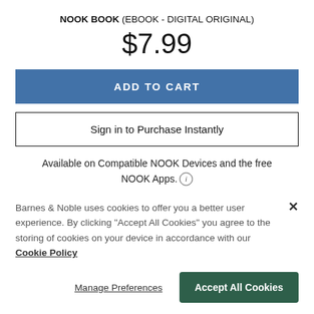NOOK BOOK (EBOOK - DIGITAL ORIGINAL)
$7.99
ADD TO CART
Sign in to Purchase Instantly
Available on Compatible NOOK Devices and the free NOOK Apps.
Barnes & Noble uses cookies to offer you a better user experience. By clicking "Accept All Cookies" you agree to the storing of cookies on your device in accordance with our Cookie Policy
Manage Preferences
Accept All Cookies